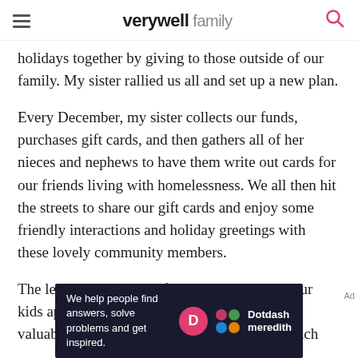verywell family
holidays together by giving to those outside of our family. My sister rallied us all and set up a new plan.
Every December, my sister collects our funds, purchases gift cards, and then gathers all of her nieces and nephews to have them write out cards for our friends living with homelessness. We all then hit the streets to share our gift cards and enjoy some friendly interactions and holiday greetings with these lovely community members.
The lessons in this act of giving are endless. Our kids appreciate what they have, and learn the valuable lesson around giving—that it is so much
[Figure (other): Dotdash Meredith advertisement banner: 'We help people find answers, solve problems and get inspired.' with Dotdash Meredith logo]